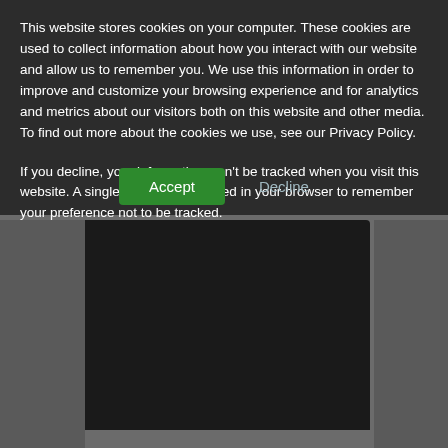This website stores cookies on your computer. These cookies are used to collect information about how you interact with our website and allow us to remember you. We use this information in order to improve and customize your browsing experience and for analytics and metrics about our visitors both on this website and other media. To find out more about the cookies we use, see our Privacy Policy.
If you decline, your information won't be tracked when you visit this website. A single cookie will be used in your browser to remember your preference not to be tracked.
[Figure (screenshot): Cookie consent dialog overlay on a dark website background showing a computer monitor. Two buttons: Accept (green) and Decline (gray text).]